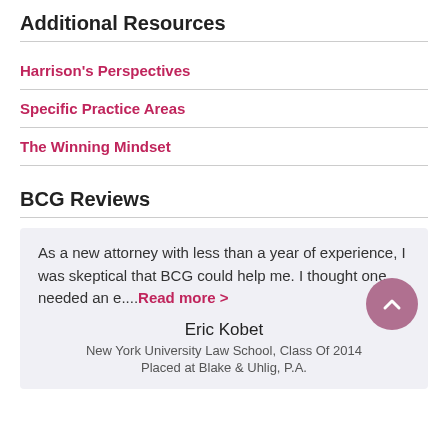Additional Resources
Harrison's Perspectives
Specific Practice Areas
The Winning Mindset
BCG Reviews
As a new attorney with less than a year of experience, I was skeptical that BCG could help me. I thought one needed an e....Read more >
Eric Kobet
New York University Law School, Class Of 2014
Placed at Blake & Uhlig, P.A.